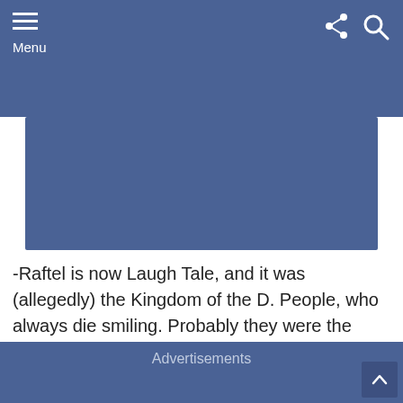Menu
[Figure (screenshot): Blue banner image block used as media/advertisement placeholder]
-Raftel is now Laugh Tale, and it was (allegedly) the Kingdom of the D. People, who always die smiling. Probably they were the original users of the Devil Fruit powers as we know them.
Advertisements